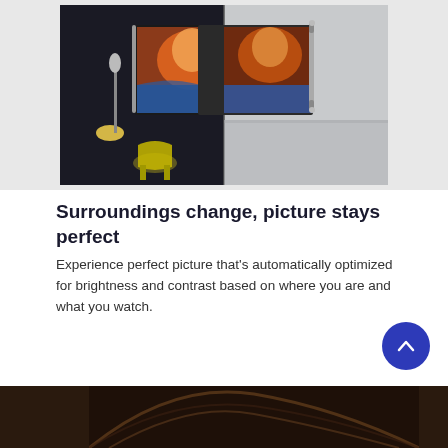[Figure (photo): Side-by-side comparison of a TV mounted on a wall. Left half shows a dark room with a floor lamp and yellow chair, TV displaying a colorful cave scene. Right half shows the same TV in a bright/grey room setting, demonstrating adaptive picture optimization.]
Surroundings change, picture stays perfect
Experience perfect picture that's automatically optimized for brightness and contrast based on where you are and what you watch.
[Figure (photo): Partial view of a curved surface or bowl shape, dark brown tones, cropped at bottom of page.]